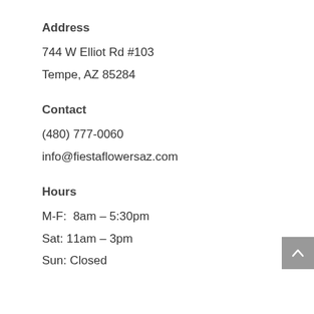Address
744 W Elliot Rd #103
Tempe, AZ 85284
Contact
(480) 777-0060
info@fiestaflowersaz.com
Hours
M-F:  8am – 5:30pm
Sat: 11am – 3pm
Sun: Closed